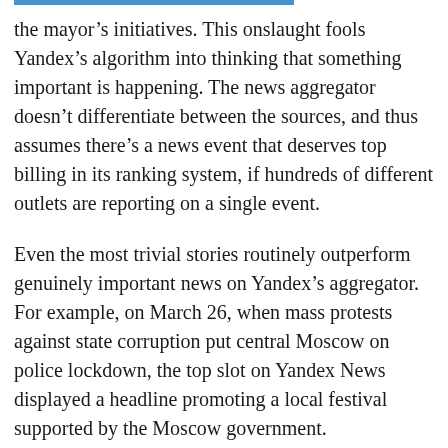the mayor's initiatives. This onslaught fools Yandex's algorithm into thinking that something important is happening. The news aggregator doesn't differentiate between the sources, and thus assumes there's a news event that deserves top billing in its ranking system, if hundreds of different outlets are reporting on a single event.
Even the most trivial stories routinely outperform genuinely important news on Yandex's aggregator. For example, on March 26, when mass protests against state corruption put central Moscow on police lockdown, the top slot on Yandex News displayed a headline promoting a local festival supported by the Moscow government.